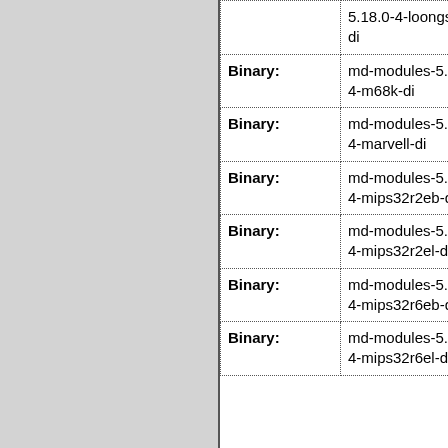| Type | Package | Info |
| --- | --- | --- |
|  | 5.18.0-4-loongson-3-di | unl |
| Binary: | md-modules-5.18.0-4-m68k-di | unl |
| Binary: | md-modules-5.18.0-4-marvell-di | unl |
| Binary: | md-modules-5.18.0-4-mips32r2eb-di | unl |
| Binary: | md-modules-5.18.0-4-mips32r2el-di | unl |
| Binary: | md-modules-5.18.0-4-mips32r6eb-di | unl |
| Binary: | md-modules-5.18.0-4-mips32r6el-di | unl |